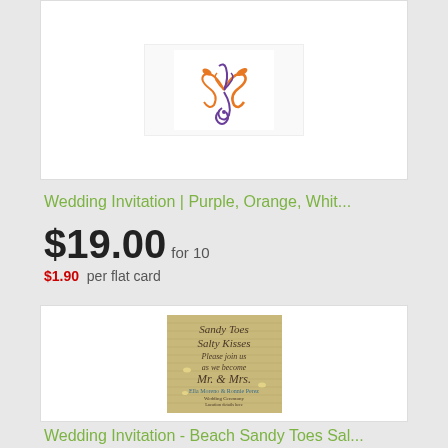[Figure (illustration): Wedding invitation card showing purple and orange floral/swirl design on white background]
Wedding Invitation | Purple, Orange, Whit...
$19.00 for 10
$1.90 per flat card
[Figure (photo): Beach-themed sandy/burlap textured wedding invitation reading Sandy Toes Salty Kisses Please join us as we become Mr. & Mrs. with names Ella Moreno & Ronnie Perez]
Wedding Invitation - Beach Sandy Toes Sal...